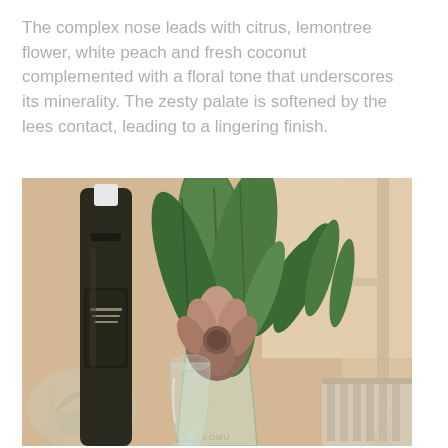The complex nose leads with citrus, lemontree flower, white peach and fresh coconut complemented with a floral tone that underscores its minerality. The zesty palate is softened by the lees contact, leading to a lingering finish.
[Figure (photo): A wine bottle with a dark label next to a glass of wine and a vase with green foliage and a pink protea flower, set against a warm beige background near a window.]